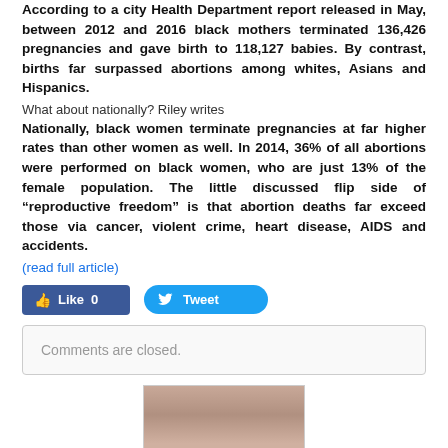According to a city Health Department report released in May, between 2012 and 2016 black mothers terminated 136,426 pregnancies and gave birth to 118,127 babies. By contrast, births far surpassed abortions among whites, Asians and Hispanics.
What about nationally? Riley writes
Nationally, black women terminate pregnancies at far higher rates than other women as well. In 2014, 36% of all abortions were performed on black women, who are just 13% of the female population. The little discussed flip side of “reproductive freedom” is that abortion deaths far exceed those via cancer, violent crime, heart disease, AIDS and accidents.
(read full article)
[Figure (other): Social media buttons: Facebook Like (0) and Twitter Tweet]
Comments are closed.
[Figure (photo): Partial photo of a person, cropped at bottom of page]